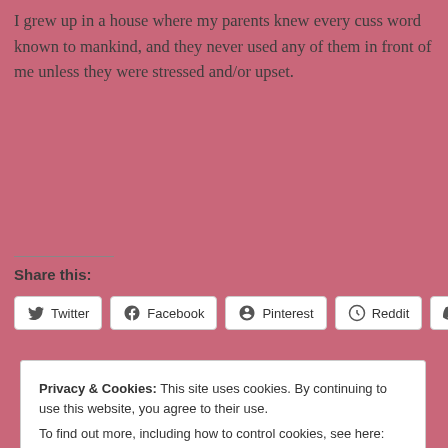I grew up in a house where my parents knew every cuss word known to mankind, and they never used any of them in front of me unless they were stressed and/or upset.
Share this:
Twitter | Facebook | Pinterest | Reddit | Tumblr
Privacy & Cookies: This site uses cookies. By continuing to use this website, you agree to their use. To find out more, including how to control cookies, see here: Cookie Policy
Close and accept